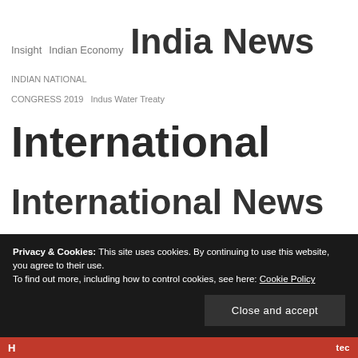Insight Indian Economy India News INDIAN NATIONAL CONGRESS 2019 Indus Water Treaty International International News International Women's Day iPhone Jammu Jammu & Kashmir Jammu Bar Elections 2019 Jammu city Jammu grenade attack Jammu News Jet Airways Judiciary Kargil Kashmir Kashmir News Kathua News Kishtwar Kishtwar News Ladakh Leh Lifestyle Live Broadcasts Maharashtra Medical Science Meteorology News MeToo movement Miss World National
Privacy & Cookies: This site uses cookies. By continuing to use this website, you agree to their use.
To find out more, including how to control cookies, see here: Cookie Policy
Close and accept
H ... tec